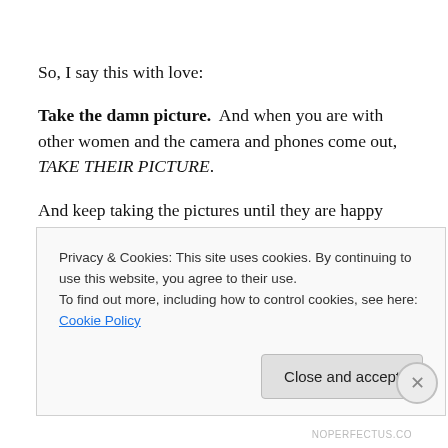So, I say this with love:
Take the damn picture.  And when you are with other women and the camera and phones come out, TAKE THEIR PICTURE.
And keep taking the pictures until they are happy with it ~ be THAT kind of girlfriend.   You know what we all do…..we say, “Let me see that picture.”  And then we
Privacy & Cookies: This site uses cookies. By continuing to use this website, you agree to their use.
To find out more, including how to control cookies, see here: Cookie Policy
NOPERFECTUS.CO